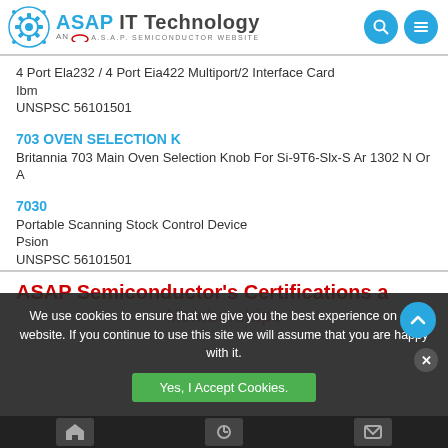[Figure (logo): ASAP IT Technology logo with gear icon and 'AN A.S.A.P. SEMICONDUCTOR WEBSITE' tagline]
4 Port Ela232 / 4 Port Eia422 Multiport/2 Interface Card
Ibm
UNSPSC 56101501
703 OVEN SELECTION K
Britannia 703 Main Oven Selection Knob For Si-9T6-Slx-S Ar 1302 N Or A
7030
Portable Scanning Stock Control Device
Psion
UNSPSC 56101501
ASAP Semiconductor's Certifications and
Memberships
We use cookies to ensure that we give you the best experience on our website. If you continue to use this site we will assume that you are happy with it.
Yes, I Accept Cookies.